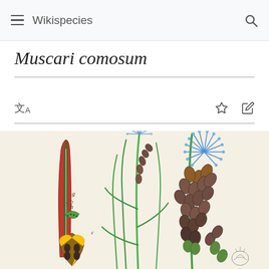Wikispecies
Muscari comosum
[Figure (illustration): Botanical illustration of Muscari comosum showing full plant with flowers, bulb cross-sections, and detail views labeled g, h, c on a cream/beige background]